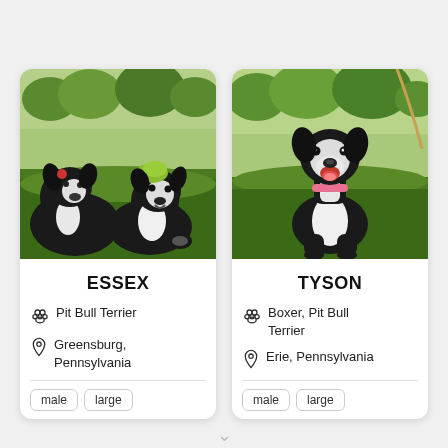[Figure (photo): Two black and white dogs (puppies) lying on green grass, one with a green toy on its head]
ESSEX
Pit Bull Terrier
Greensburg, Pennsylvania
male
large
[Figure (photo): Black and white dog (Boxer/Pit Bull mix) sitting on green grass, mouth open and smiling, wearing a pink collar]
TYSON
Boxer, Pit Bull Terrier
Erie, Pennsylvania
male
large